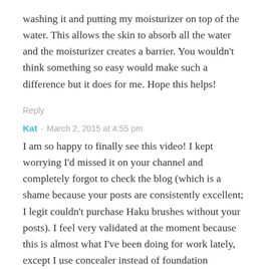washing it and putting my moisturizer on top of the water. This allows the skin to absorb all the water and the moisturizer creates a barrier. You wouldn't think something so easy would make such a difference but it does for me. Hope this helps!
Reply
Kat · March 2, 2015 at 4:55 pm
I am so happy to finally see this video! I kept worrying I'd missed it on your channel and completely forgot to check the blog (which is a shame because your posts are consistently excellent; I legit couldn't purchase Haku brushes without your posts). I feel very validated at the moment because this is almost what I've been doing for work lately, except I use concealer instead of foundation (because I'm lazy and I do my makeup